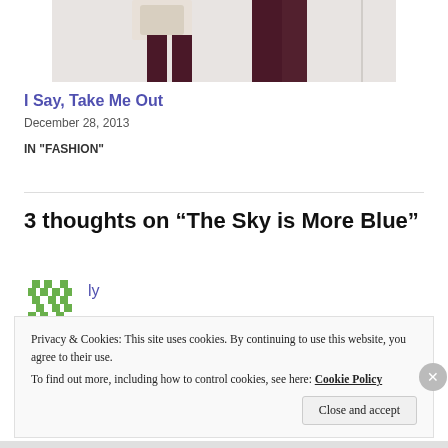[Figure (photo): Cropped photo showing lower body of a person wearing dark maroon/burgundy pants and holding a light beige bag, standing against a white door]
I Say, Take Me Out
December 28, 2013
IN "FASHION"
3 thoughts on “The Sky is More Blue”
[Figure (illustration): Green pixel avatar icon]
ly
Privacy & Cookies: This site uses cookies. By continuing to use this website, you agree to their use.
To find out more, including how to control cookies, see here: Cookie Policy
Close and accept